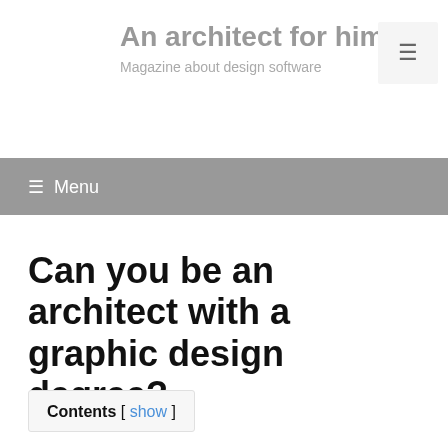An architect for himself – Magazine about design software
☰ Menu
Can you be an architect with a graphic design degree?
Contents [ show ]